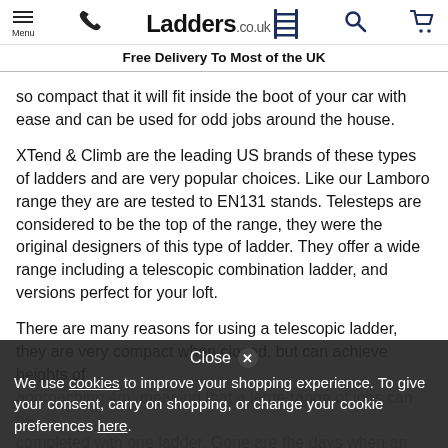Menu | Phone | Ladders.co.uk | Search | Cart
Free Delivery To Most of the UK
so compact that it will fit inside the boot of your car with ease and can be used for odd jobs around the house.
XTend & Climb are the leading US brands of these types of ladders and are very popular choices. Like our Lamboro range they are are tested to EN131 stands. Telesteps are considered to be the top of the range, they were the original designers of this type of ladder. They offer a wide range including a telescopic combination ladder, and versions perfect for your loft.
There are many reasons for using a telescopic ladder, they are very compact when closed, but can achieve heights of approaching 4m, meaning that a large range of jobs can be completed with one ladder. Gone are the days when an old wooden ladder was too heavy and awkward to use and so you'd feel put off when contemplating a job. Now with a light, strong telescopic model you can keep it within reach and start jobs in minutes. The
Close ✕
We use cookies to improve your shopping experience. To give your consent, carry on shopping, or change your cookie preferences here.